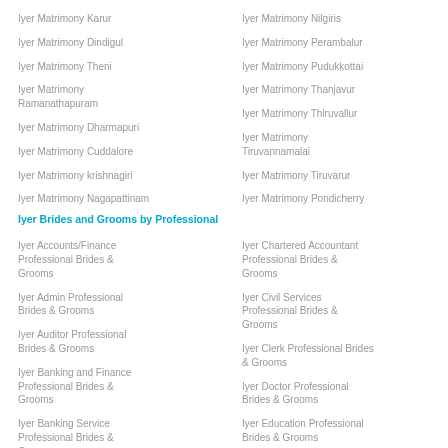Iyer Matrimony Karur
Iyer Matrimony Dindigul
Iyer Matrimony Theni
Iyer Matrimony Ramanathapuram
Iyer Matrimony Dharmapuri
Iyer Matrimony Cuddalore
Iyer Matrimony krishnagiri
Iyer Matrimony Nagapattinam
Iyer Matrimony Nilgiris
Iyer Matrimony Perambalur
Iyer Matrimony Pudukkottai
Iyer Matrimony Thanjavur
Iyer Matrimony Thiruvallur
Iyer Matrimony Tiruvannamalai
Iyer Matrimony Tiruvarur
Iyer Matrimony Pondicherry
Iyer Brides and Grooms by Professional
Iyer Accounts/Finance Professional Brides & Grooms
Iyer Admin Professional Brides & Grooms
Iyer Auditor Professional Brides & Grooms
Iyer Banking and Finance Professional Brides & Grooms
Iyer Banking Service Professional Brides & Grooms
Iyer Chartered Accountant Professional Brides & Grooms
Iyer Civil Services Professional Brides & Grooms
Iyer Clerk Professional Brides & Grooms
Iyer Doctor Professional Brides & Grooms
Iyer Education Professional Brides & Grooms
Iyer Engineer-Non IT